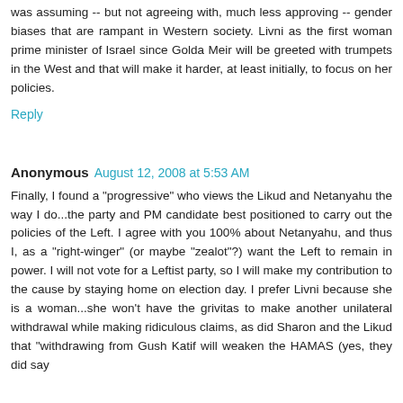was assuming -- but not agreeing with, much less approving -- gender biases that are rampant in Western society. Livni as the first woman prime minister of Israel since Golda Meir will be greeted with trumpets in the West and that will make it harder, at least initially, to focus on her policies.
Reply
Anonymous  August 12, 2008 at 5:53 AM
Finally, I found a "progressive" who views the Likud and Netanyahu the way I do...the party and PM candidate best positioned to carry out the policies of the Left. I agree with you 100% about Netanyahu, and thus I, as a "right-winger" (or maybe "zealot"?) want the Left to remain in power. I will not vote for a Leftist party, so I will make my contribution to the cause by staying home on election day. I prefer Livni because she is a woman...she won't have the grivitas to make another unilateral withdrawal while making ridiculous claims, as did Sharon and the Likud that "withdrawing from Gush Katif will weaken the HAMAS (yes, they did say